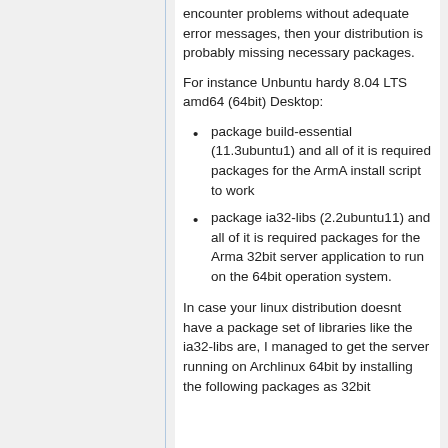encounter problems without adequate error messages, then your distribution is probably missing necessary packages.
For instance Unbuntu hardy 8.04 LTS amd64 (64bit) Desktop:
package build-essential (11.3ubuntu1) and all of it is required packages for the ArmA install script to work
package ia32-libs (2.2ubuntu11) and all of it is required packages for the Arma 32bit server application to run on the 64bit operation system.
In case your linux distribution doesnt have a package set of libraries like the ia32-libs are, I managed to get the server running on Archlinux 64bit by installing the following packages as 32bit